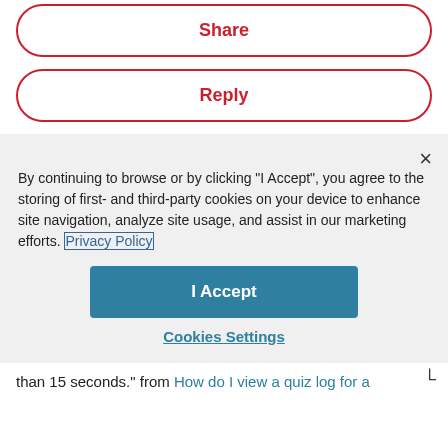[Figure (screenshot): Share button with red border and red bold text on white background, rounded pill shape]
[Figure (screenshot): Reply button with red border and red bold text on white background, rounded pill shape]
By continuing to browse or by clicking "I Accept", you agree to the storing of first- and third-party cookies on your device to enhance site navigation, analyze site usage, and assist in our marketing efforts. Privacy Policy
[Figure (screenshot): I Accept button, teal/blue background, white bold text, rectangular with slight rounding]
Cookies Settings
than 15 seconds." from How do I view a quiz log for a